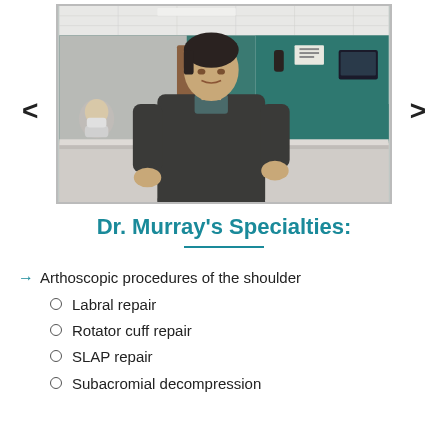[Figure (photo): A man in a dark sweater standing at a medical office reception desk, with teal/green walls in the background. A masked staff member is visible behind the desk.]
Dr. Murray's Specialties:
Arthoscopic procedures of the shoulder
Labral repair
Rotator cuff repair
SLAP repair
Subacromial decompression